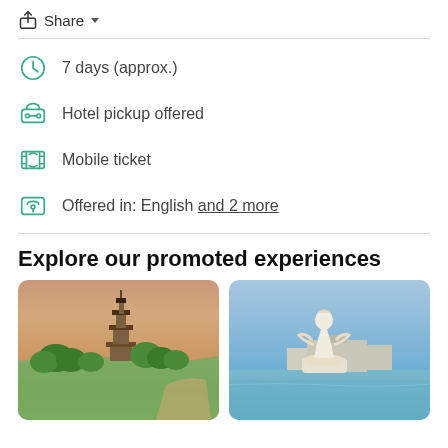Share
7 days (approx.)
Hotel pickup offered
Mobile ticket
Offered in: English and 2 more
Explore our promoted experiences
[Figure (photo): Chinese pagoda building surrounded by trees with sandy dunes in background]
[Figure (photo): White Guanyin statue by waterfront with buildings in background under blue sky]